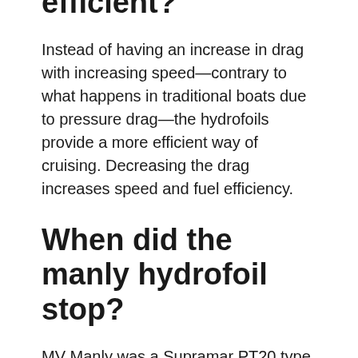efficient?
Instead of having an increase in drag with increasing speed—contrary to what happens in traditional boats due to pressure drag—the hydrofoils provide a more efficient way of cruising. Decreasing the drag increases speed and fuel efficiency.
When did the manly hydrofoil stop?
MV Manly was a Supramar PT20 type hydrofoil ferry which operated on Sydney Harbour from 1965 to 1980.
How old are the Manly ferries?